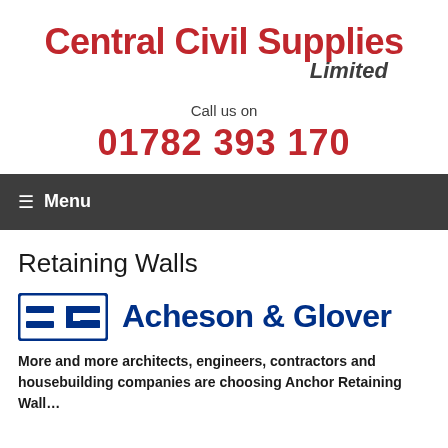Central Civil Supplies Limited
Call us on
01782 393 170
Menu
Retaining Walls
[Figure (logo): Acheson & Glover brand logo with stylized AG mark and company name]
More and more architects, engineers, contractors and housebuilding companies are choosing Anchor Retaining Wall...